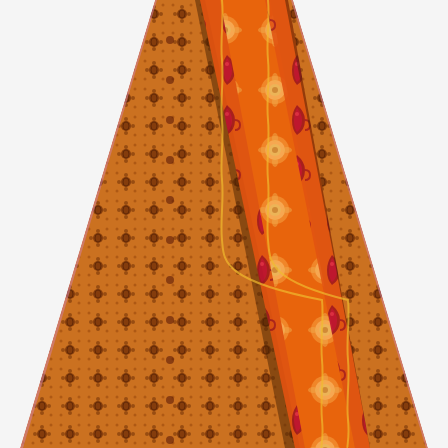[Figure (photo): A photograph of an orange and brown Indian/bohemian patterned fabric or textile (likely a wrap skirt or sari), displayed in a trapezoidal shape wider at the bottom. The fabric features vertical stripes with: dark brown floral and medallion patterns on golden-orange panels on the left and right sides, a central orange stripe with deep red/maroon paisley motifs arranged vertically, and a lighter orange center panel with circular floral mandala patterns and wavy gold trim lines. The background is white.]